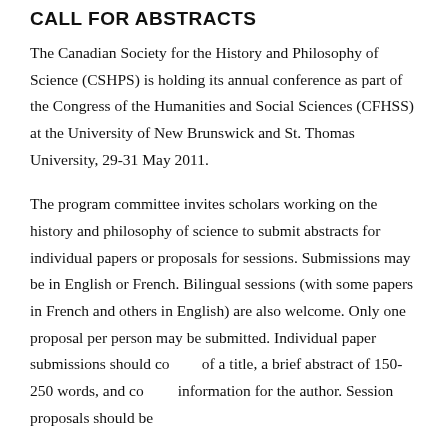CALL FOR ABSTRACTS
The Canadian Society for the History and Philosophy of Science (CSHPS) is holding its annual conference as part of the Congress of the Humanities and Social Sciences (CFHSS) at the University of New Brunswick and St. Thomas University, 29-31 May 2011.
The program committee invites scholars working on the history and philosophy of science to submit abstracts for individual papers or proposals for sessions. Submissions may be in English or French. Bilingual sessions (with some papers in French and others in English) are also welcome. Only one proposal per person may be submitted. Individual paper submissions should consist of a title, a brief abstract of 150-250 words, and contact information for the author. Session proposals should be...